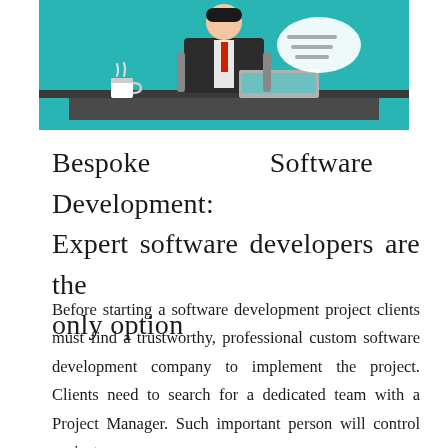[Figure (illustration): Illustrated flat-design image of a businessman in a suit sitting at a desk with a laptop, coffee cup, and speech bubble, against a teal background.]
Bespoke Software Development: Expert software developers are the only option
Before starting a software development project clients must find a trustworthy, professional custom software development company to implement the project. Clients need to search for a dedicated team with a Project Manager. Such important person will control project